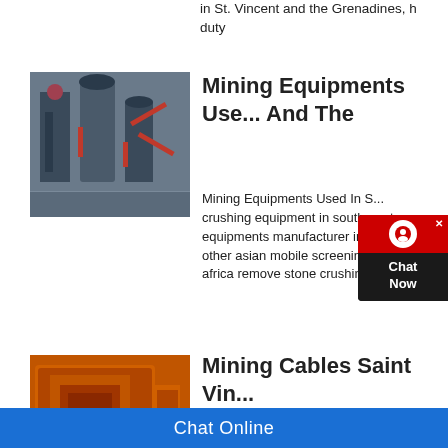in St. Vincent and the Grenadines, h... duty
[Figure (photo): Industrial mining/milling equipment, gray machinery in a factory setting]
Mining Equipments Use... And The
Mining Equipments Used In S... crushing equipment in south a... equipments manufacturer in t... other asian mobile screening... africa remove stone crushing machi...
[Figure (photo): Orange heavy mining crusher/impact machine]
Mining Cables Saint Vin... Grenadines : Top
Mining Cables In Saint Vincent and... for verified Mining Cables suppliers... Grenadines, then Getatoz is your o...
Chat Online